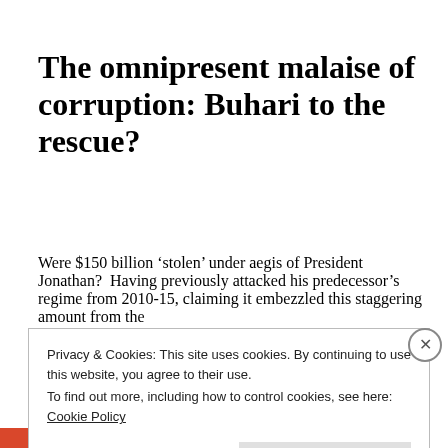The omnipresent malaise of corruption: Buhari to the rescue?
Were $150 billion ‘stolen’ under aegis of President Jonathan?  Having previously attacked his predecessor’s regime from 2010-15, claiming it embezzled this staggering amount from the
Privacy & Cookies: This site uses cookies. By continuing to use this website, you agree to their use.
To find out more, including how to control cookies, see here: Cookie Policy
Close and accept